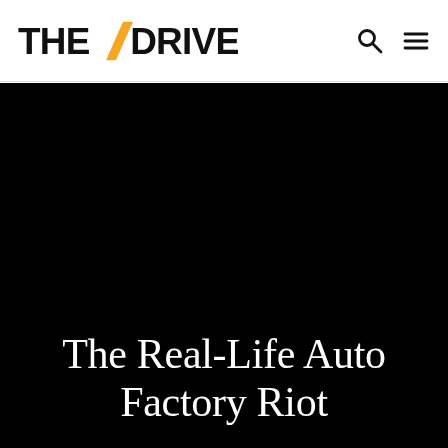THE DRIVE
[Figure (photo): Black background hero image area for The Drive article]
The Real-Life Auto Factory Riot